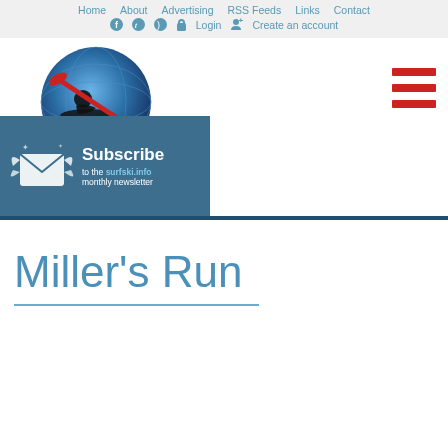Home  About  Advertising  RSS Feeds  Links  Contact
f  twitter  rss  Login  Create an account
[Figure (logo): Surfski.info logo — globe with kayaker silhouette and red paddle, blue wave, text SURFSKI.INFO below]
[Figure (illustration): Hamburger menu icon — three red horizontal bars]
[Figure (illustration): Subscribe to the surfski.info monthly newsletter banner — dark blue background, envelope with wings icon]
Miller's Run